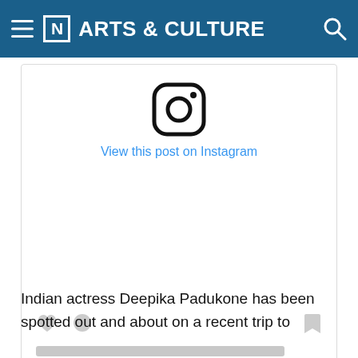[N] ARTS & CULTURE
[Figure (screenshot): Instagram embed card showing Instagram logo icon, 'View this post on Instagram' link, empty content area with placeholder action icons (heart, comment, bookmark), skeleton loading bars, and attribution text 'A post shared by Viral Bhayani (@viralbhayani)']
Indian actress Deepika Padukone has been spotted out and about on a recent trip to